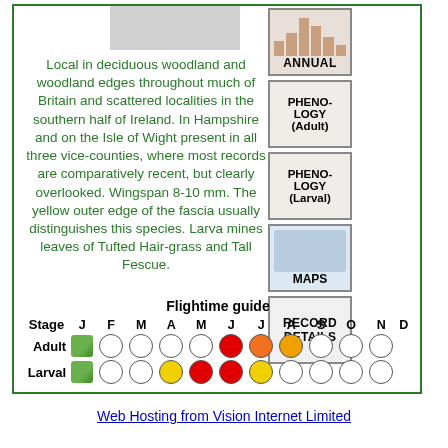[Figure (photo): Blurred/greyed out image at top center of page]
Local in deciduous woodland and woodland edges throughout much of Britain and scattered localities in the southern half of Ireland. In Hampshire and on the Isle of Wight present in all three vice-counties, where most records are comparatively recent, but clearly overlooked. Wingspan 8-10 mm. The yellow outer edge of the fascia usually distinguishes this species. Larva mines leaves of Tufted Hair-grass and Tall Fescue.
[Figure (other): ANNUAL button - sidebar chart thumbnail]
[Figure (other): PHENOLOGY (Adult) button - sidebar thumbnail]
[Figure (other): PHENOLOGY (Larval) button - sidebar thumbnail]
[Figure (other): MAPS button - sidebar map thumbnail]
[Figure (other): RECORD DETAILS button - sidebar]
Flightime guide
| Stage | J | F | M | A | M | J | J | A | S | O | N | D |
| --- | --- | --- | --- | --- | --- | --- | --- | --- | --- | --- | --- | --- |
| Adult | leaf | ○ | ○ | ○ | ○ | ●red | ●orange | ●yellow-orange | ○ | ○ | ○ |
| Larval | leaf | ○ | ○ | ●yellow | ●red | ●red | ●yellow | ○ | ○ | ○ | ○ |
Web Hosting from Vision Internet Limited